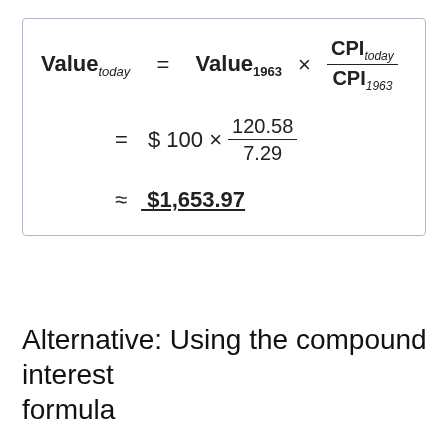Alternative: Using the compound interest formula